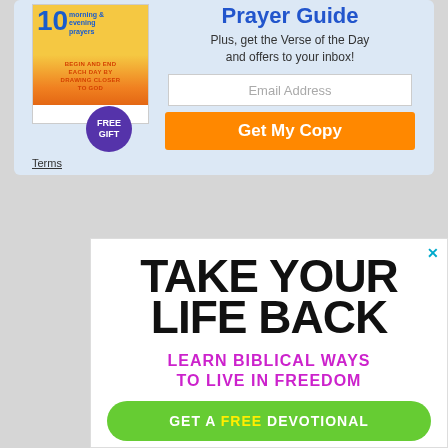[Figure (illustration): Top advertisement box with light blue background. Contains a book cover showing '10 morning & evening prayers' with orange/yellow background, text 'BEGIN AND END EACH DAY BY DRAWING CLOSER TO GOD' in red/orange, a purple circle badge saying 'FREE GIFT'. Right side shows 'Prayer Guide' title in blue, subtitle 'Plus, get the Verse of the Day and offers to your inbox!', email input field, orange 'Get My Copy' button, and 'Terms' link.]
[Figure (illustration): Bottom advertisement with white background. Large bold black text 'TAKE YOUR LIFE BACK', purple text 'LEARN BIBLICAL WAYS TO LIVE IN FREEDOM', green rounded button 'GET A FREE DEVOTIONAL' with FREE in yellow. Close X button in top right corner.]